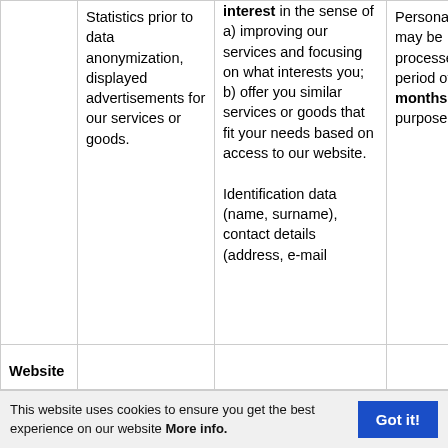|  | Statistics prior to data anonymization, displayed advertisements for our services or goods. | interest in the sense of a) improving our services and focusing on what interests you; b) offer you similar services or goods that fit your needs based on access to our website.

Identification data (name, surname), contact details (address, e-mail... | Personal data may be processed for a period of time 6 months for this purpose. |
| Website |  |  |  |
This website uses cookies to ensure you get the best experience on our website More info.